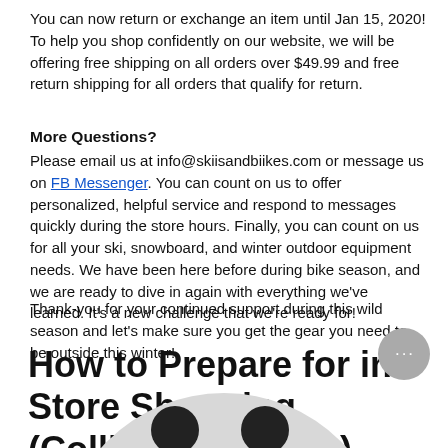You can now return or exchange an item until Jan 15, 2020! To help you shop confidently on our website, we will be offering free shipping on all orders over $49.99 and free return shipping for all orders that qualify for return.
More Questions?
Please email us at info@skiisandbiikes.com or message us on FB Messenger. You can count on us to offer personalized, helpful service and respond to messages quickly during the store hours. Finally, you can count on us for all your ski, snowboard, and winter outdoor equipment needs. We have been here before during bike season, and we are ready to dive in again with everything we've learned. It's a new challenge that we're ready for!
Thank-you for your continued support during this wild season and let's make sure you get the gear you need to be outside this winter!
How to Prepare for in Store Shopping (Collingwood only)
[Figure (illustration): Bottom portion of a grey circle with two dark oval eyes visible, resembling an emoji face, partially cropped at bottom of page]